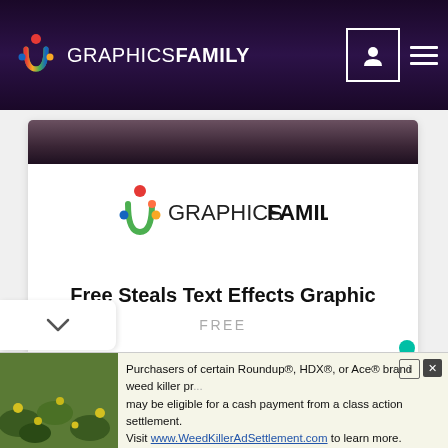GraphicsFamily
[Figure (logo): GraphicsFamily logo centered in white card area]
Free Steals Text Effects Graphic
FREE
[Figure (illustration): Teal rocket icon in bottom right area]
[Figure (photo): Advertisement banner with nature/plant photo and Roundup class action settlement text]